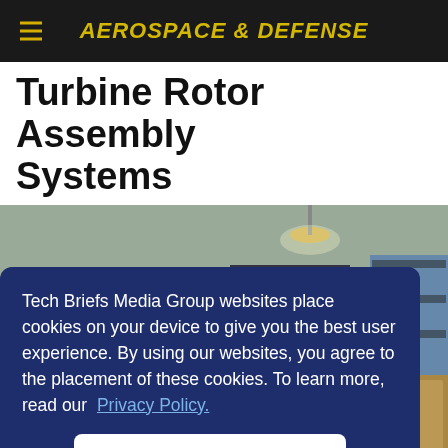AEROSPACE & DEFENSE
Turbine Rotor Assembly Systems
[Figure (photo): Industrial workspace showing a worker leaning over equipment in a manufacturing facility with shelving, machinery, and warehouse items visible in the background.]
Tech Briefs Media Group websites place cookies on your device to give you the best user experience. By using our websites, you agree to the placement of these cookies. To learn more, read our Privacy Policy.